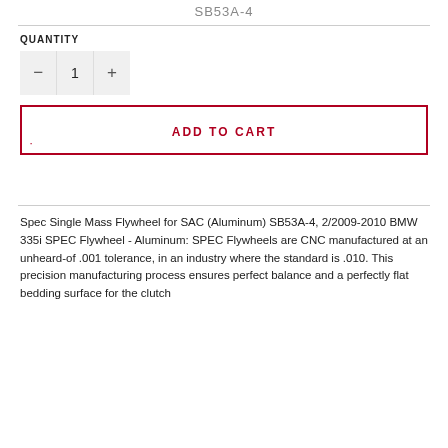SB53A-4
QUANTITY
1
ADD TO CART
Spec Single Mass Flywheel for SAC (Aluminum) SB53A-4, 2/2009-2010 BMW 335i SPEC Flywheel - Aluminum: SPEC Flywheels are CNC manufactured at an unheard-of .001 tolerance, in an industry where the standard is .010. This precision manufacturing process ensures perfect balance and a perfectly flat bedding surface for the clutch